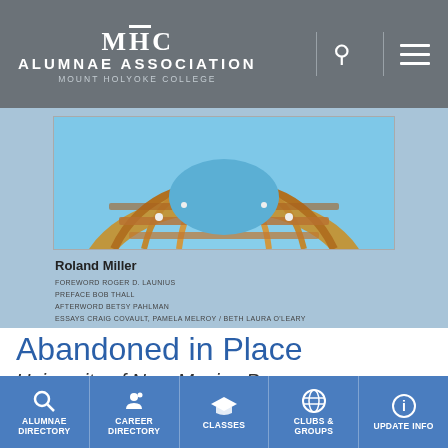MHC ALUMNAE ASSOCIATION MOUNT HOLYOKE COLLEGE
[Figure (photo): Book cover showing circular launch pad structure from above against blue sky, with text 'Roland Miller' and contributor credits below]
Abandoned in Place
University of New Mexico Press
Stenciled on many of the deactivated facilities at Cape Canaveral Air Force Station the evocative phrase “abandoned in place”
ALUMNAE DIRECTORY | CAREER DIRECTORY | CLASSES | CLUBS & GROUPS | UPDATE INFO